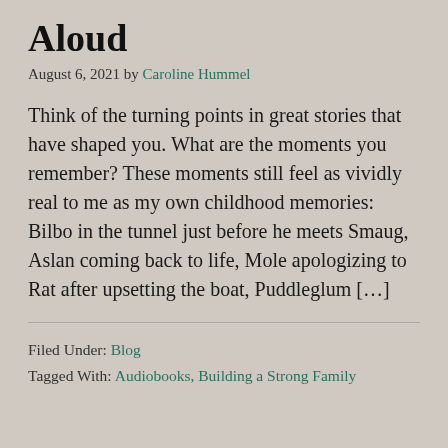Aloud
August 6, 2021 by Caroline Hummel
Think of the turning points in great stories that have shaped you. What are the moments you remember? These moments still feel as vividly real to me as my own childhood memories: Bilbo in the tunnel just before he meets Smaug, Aslan coming back to life, Mole apologizing to Rat after upsetting the boat, Puddleglum […]
Filed Under: Blog
Tagged With: Audiobooks, Building a Strong Family